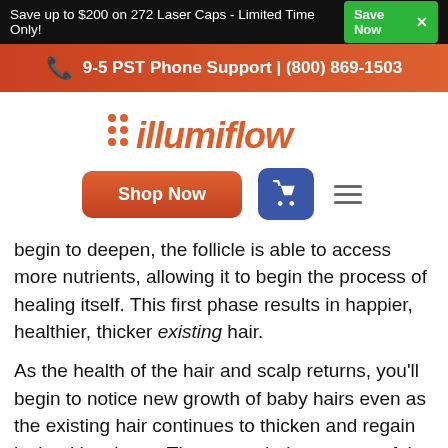Save up to $200 on 272 Laser Caps - Limited Time Only!  Save Now ✕
9-5 PST Phone Support | (800) 869-1503
[Figure (logo): illumiflow logo with orange dot grid and styled italic orange wordmark]
Shop Now
begin to deepen, the follicle is able to access more nutrients, allowing it to begin the process of healing itself. This first phase results in happier, healthier, thicker existing hair.
As the health of the hair and scalp returns, you'll begin to notice new growth of baby hairs even as the existing hair continues to thicken and regain its healthy sheen. These new hairs are one of the most exciting results of effective hair restoration